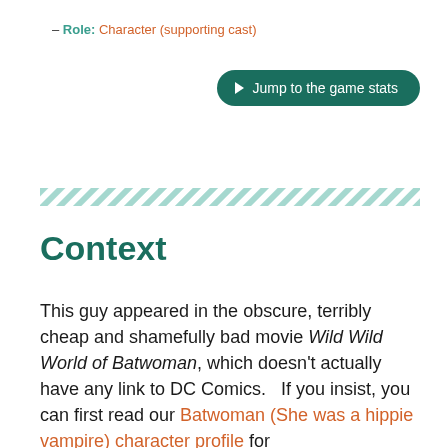– Role: Character (supporting cast)
▶ Jump to the game stats
[Figure (other): Diagonal teal/green hatching stripe divider]
Context
This guy appeared in the obscure, terribly cheap and shamefully bad movie Wild Wild World of Batwoman, which doesn't actually have any link to DC Comics.   If you insist, you can first read our Batwoman (She was a hippie vampire) character profile for